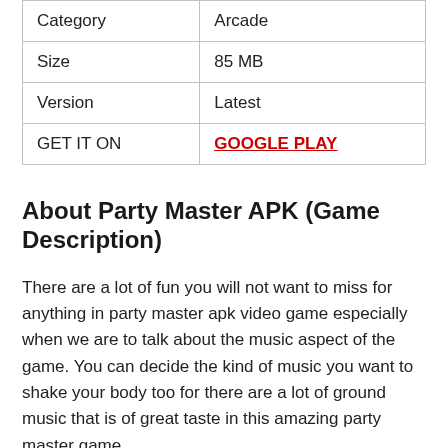| Category | Arcade |
| Size | 85 MB |
| Version | Latest |
| GET IT ON | GOOGLE PLAY |
About Party Master APK (Game Description)
There are a lot of fun you will not want to miss for anything in party master apk video game especially when we are to talk about the music aspect of the game. You can decide the kind of music you want to shake your body too for there are a lot of ground music that is of great taste in this amazing party master game.